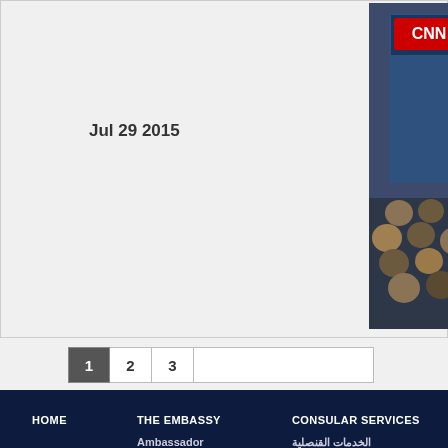Jul 29 2015
[Figure (photo): Conference or panel discussion with speakers on stage and audience seated below, CNN branding visible]
Iraq/Syr
1  2  3
HOME
THE EMBASSY
Ambassador
Welcome
Biography
Activities
Attachés
Embassy Holidays
Feedback
CONSULAR SERVICES
الخدمات القنصلية
كارى كونسولى
ABOUT IR
Visit Iraq
History
Interacti
Historica
Geograph
Economy
Art and Cr